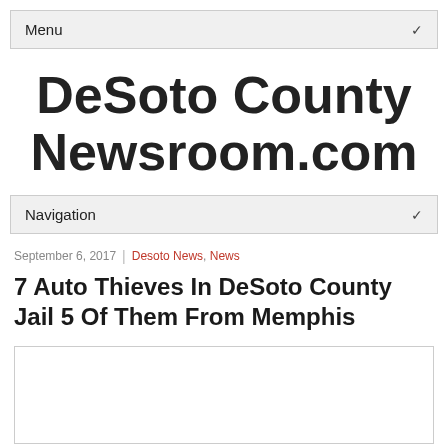Menu
DeSoto County Newsroom.com
Navigation
September 6, 2017  |  Desoto News, News
7 Auto Thieves In DeSoto County Jail 5 Of Them From Memphis
[Figure (other): Image placeholder area with border]